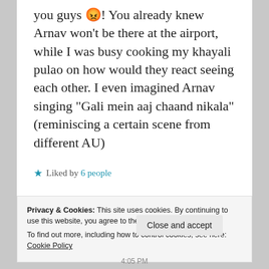you guys 😡! You already knew Arnav won't be there at the airport, while I was busy cooking my khayali pulao on how would they react seeing each other. I even imagined Arnav singing "Gali mein aaj chaand nikala" (reminiscing a certain scene from different AU)
★ Liked by 6 people
Privacy & Cookies: This site uses cookies. By continuing to use this website, you agree to their use. To find out more, including how to control cookies, see here: Cookie Policy
Close and accept
4:05 PM